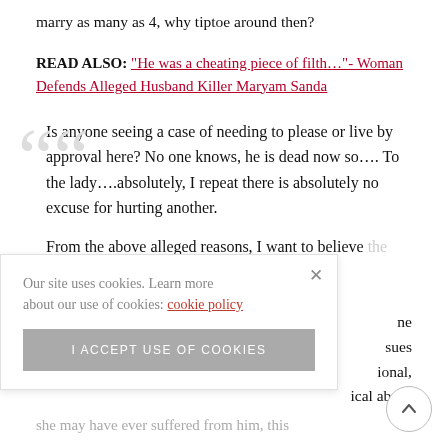marry as many as 4, why tiptoe around then?
READ ALSO: “He was a cheating piece of filth…”- Woman Defends Alleged Husband Killer Maryam Sanda
Is anyone seeing a case of needing to please or live by approval here? No one knows, he is dead now so…. To the lady….absolutely, I repeat there is absolutely no excuse for hurting another.
From the above alleged reasons, I want to believe [text partially obscured] abuse
[partially visible] ne sues ional, ical abuse she may have ever suffered from him, this
Our site uses cookies. Learn more about our use of cookies: cookie policy
I ACCEPT USE OF COOKIES